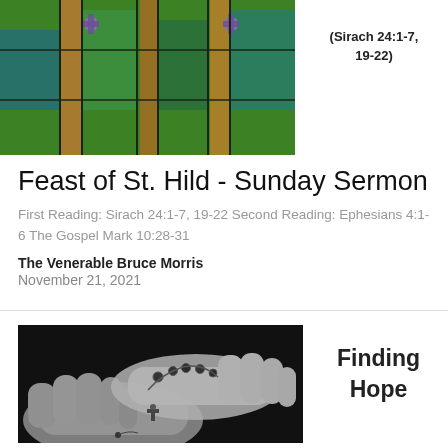[Figure (photo): Stained glass window with colorful abstract design featuring cross motifs in green, orange, blue and purple]
(Sirach 24:1-7, 19-22)
Feast of St. Hild - Sunday Sermon
First Reading: Sirach 24:1-7, 19-22 Second Reading: Ephesians 4:1-6 The Gospel Mark 10:28-31
The Venerable Bruce Morris
November 21, 2021
[Figure (photo): Black and white photograph of two hands holding a rosary with a cross pendant]
Finding Hope